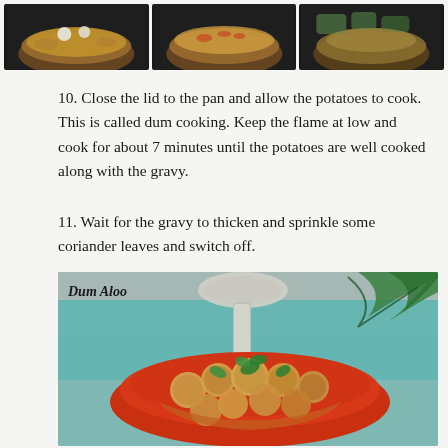[Figure (photo): Three side-by-side cooking process photos showing a pan with curry/gravy at different stages of cooking]
10. Close the lid to the pan and allow the potatoes to cook. This is called dum cooking. Keep the flame at low and cook for about 7 minutes until the potatoes are well cooked along with the gravy.
11. Wait for the gravy to thicken and sprinkle some coriander leaves and switch off.
[Figure (photo): Photo of Dum Aloo dish - baby potatoes in orange-red gravy served in a red oval dish, garnished with coriander leaves, with a spoon and teal cloth in background. Label 'Dum Aloo' in bold italic text at top left.]